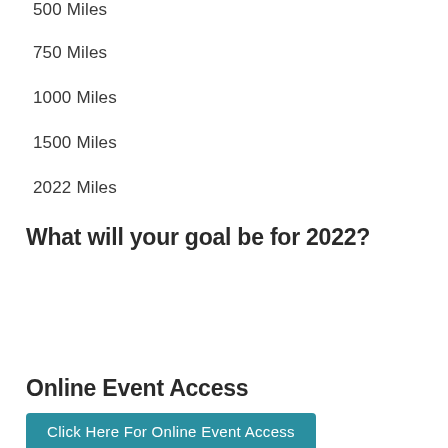500 Miles
750 Miles
1000 Miles
1500 Miles
2022 Miles
What will your goal be for 2022?
Online Event Access
Click Here For Online Event Access